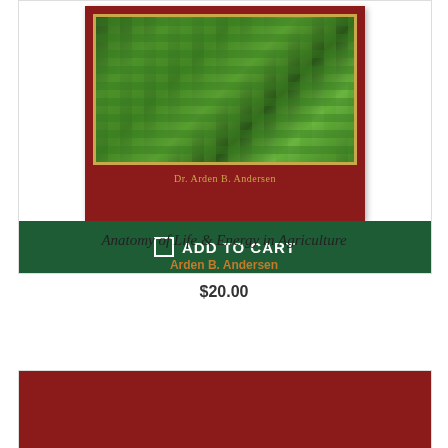[Figure (photo): Book cover of 'Anatomy of Life & Energy in Agriculture' by Dr. Arden B. Andersen. Red cover with a framed photo of green corn plants and gold text showing the author's name.]
ADD TO CART
Anatomy of Life & Energy in Agriculture
Arden B. Andersen
$20.00
[Figure (photo): Partial view of a second book product card with a red cover, cut off at the bottom of the page.]